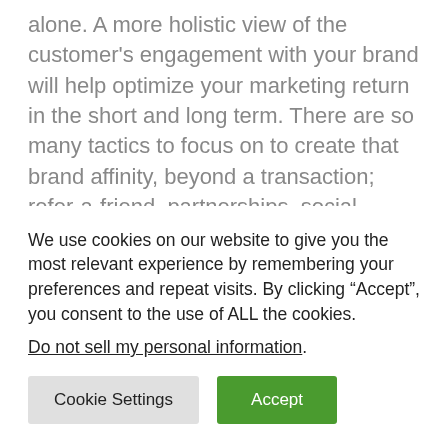alone. A more holistic view of the customer's engagement with your brand will help optimize your marketing return in the short and long term. There are so many tactics to focus on to create that brand affinity, beyond a transaction; refer-a-friend, partnerships, social integration, post-purchase communication, replenishment, etc. This is the time to think outside the box and get creative. Those who keep customers engaged between
We use cookies on our website to give you the most relevant experience by remembering your preferences and repeat visits. By clicking “Accept”, you consent to the use of ALL the cookies.
Do not sell my personal information.
Cookie Settings | Accept